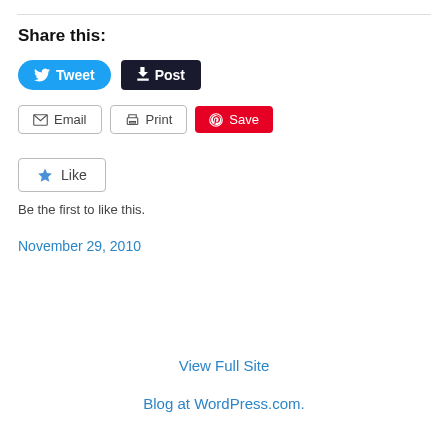Share this:
[Figure (other): Social sharing buttons: Tweet (Twitter/blue), Post (Tumblr/dark), Email (outline), Print (outline), Save (Pinterest/red)]
[Figure (other): Like button with star icon]
Be the first to like this.
November 29, 2010
View Full Site
Blog at WordPress.com.